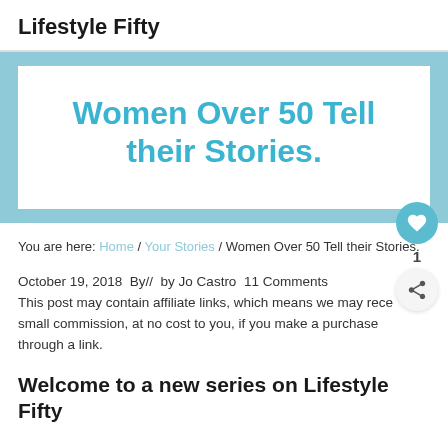Lifestyle Fifty
[Figure (other): Light blue banner containing a white rectangle with the text 'Women Over 50 Tell their Stories.' in bold cyan/teal font]
You are here: Home / Your Stories / Women Over 50 Tell their Stories.
October 19, 2018  By//  by Jo Castro  11 Comments
This post may contain affiliate links, which means we may rece small commission, at no cost to you, if you make a purchase through a link.
Welcome to a new series on Lifestyle Fifty